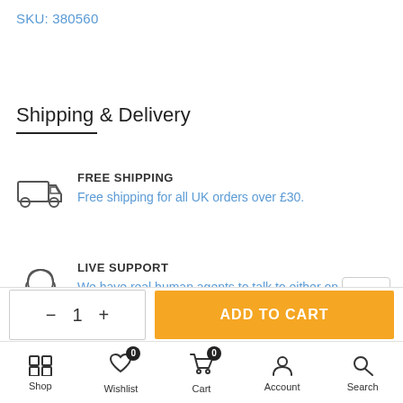SKU: 380560
Shipping & Delivery
FREE SHIPPING
Free shipping for all UK orders over £30.
LIVE SUPPORT
We have real human agents to talk to either on the phone or via our online chat.
− 1 + ADD TO CART
Shop  Wishlist  Cart  Account  Search